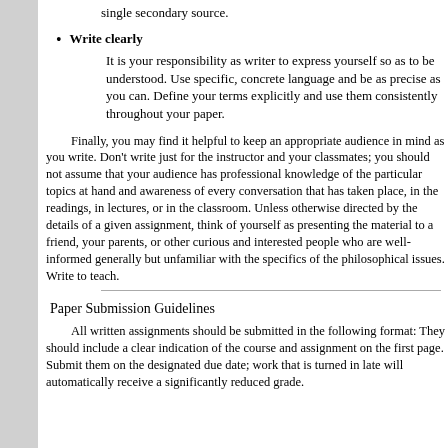single secondary source.
Write clearly
It is your responsibility as writer to express yourself so as to be understood. Use specific, concrete language and be as precise as you can. Define your terms explicitly and use them consistently throughout your paper.
Finally, you may find it helpful to keep an appropriate audience in mind as you write. Don't write just for the instructor and your classmates; you should not assume that your audience has professional knowledge of the particular topics at hand and awareness of every conversation that has taken place, in the readings, in lectures, or in the classroom. Unless otherwise directed by the details of a given assignment, think of yourself as presenting the material to a friend, your parents, or other curious and interested people who are well-informed generally but unfamiliar with the specifics of the philosophical issues. Write to teach.
Paper Submission Guidelines
All written assignments should be submitted in the following format: They should include a clear indication of the course and assignment on the first page. Submit them on the designated due date; work that is turned in late will automatically receive a significantly reduced grade.